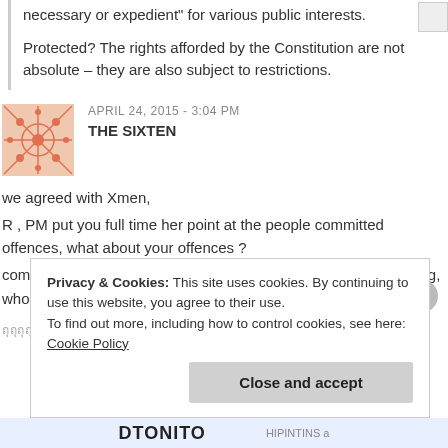necessary or expedient" for various public interests.
Protected? The rights afforded by the Constitution are not absolute – they are also subject to restrictions.
APRIL 24, 2015 - 3:04 PM
THE SIXTEN
we agreed with Xmen,
R , PM put you full time her point at the people committed offences, what about your offences ?
compare LKY did a lot of an illegal act., Amos just said something, who is the true offenses.
Thai/Unicode text line
Privacy & Cookies: This site uses cookies. By continuing to use this website, you agree to their use.
To find out more, including how to control cookies, see here: Cookie Policy
Close and accept